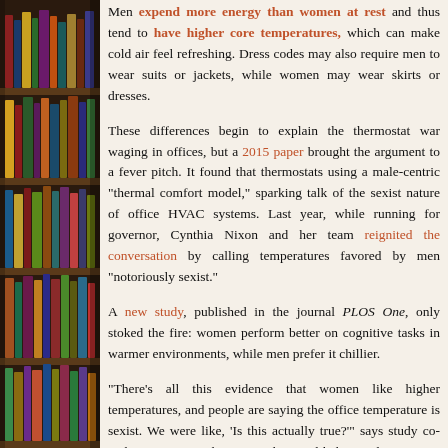[Figure (illustration): Bookshelf with colorful books arranged on multiple shelves, photographed from the side.]
Men expend more energy than women at rest and thus tend to have higher core temperatures, which can make cold air feel refreshing. Dress codes may also require men to wear suits or jackets, while women may wear skirts or dresses.
These differences begin to explain the thermostat war waging in offices, but a 2015 paper brought the argument to a fever pitch. It found that thermostats using a male-centric "thermal comfort model," sparking talk of the sexist nature of office HVAC systems. Last year, while running for governor, Cynthia Nixon and her team reignited the conversation by calling temperatures favored by men "notoriously sexist."
A new study, published in the journal PLOS One, only stoked the fire: women perform better on cognitive tasks in warmer environments, while men prefer it chillier.
"There’s all this evidence that women like higher temperatures, and people are saying the office temperature is sexist. We were like, ‘Is this actually true?’" says study co-author Agne Kajackaite, an ethics and behavioral economist at the Berlin Social Science Center.
The researchers recruited almost 550 German college students. The students completed cognitive tasks—adding double-digit numbers, unscrambling a jumbled set of 10 letters and solving word problems—in rooms with temperatures from 16.19 to 32.57 degrees Celsius (about 61 to 90 degrees Fahrenheit).
They found that women performed better on both math and verbal tasks as temperature increased, while the opposite was true for men. The effect was notable: for every 1 degree Celsius increase in temperature, women answered about 1.76% more math questions correctly and 1% more verbal questions correctly, while men answered fewer questions correctly in both categories. (Temperature did not seem to aff